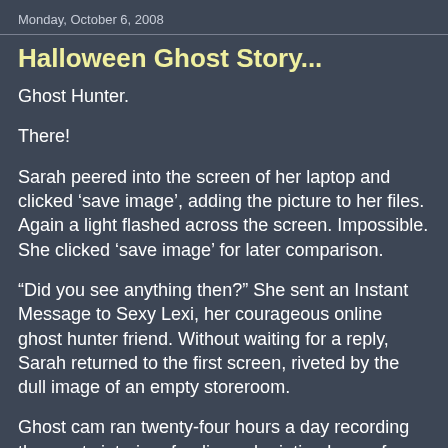Monday, October 6, 2008
Halloween Ghost Story...
Ghost Hunter.
There!
Sarah peered into the screen of her laptop and clicked ‘save image’, adding the picture to her files. Again a light flashed across the screen. Impossible. She clicked ‘save image’ for later comparison.
“Did you see anything then?” She sent an Instant Message to Sexy Lexi, her courageous online ghost hunter friend. Without waiting for a reply, Sarah returned to the first screen, riveted by the dull image of an empty storeroom.
Ghost cam ran twenty-four hours a day recording the musty interior of a disused printing house for intrepid ghost-watchers. The ancient building occupied a corner of downtown Manchester, on the other side of the world. Yet